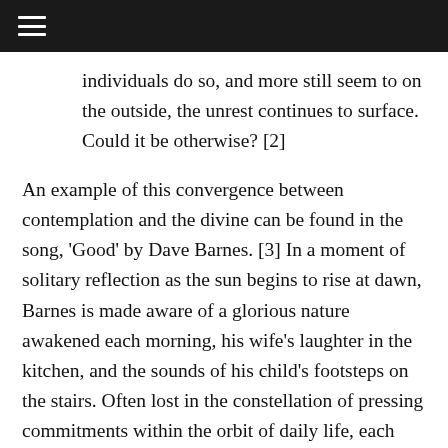≡
individuals do so, and more still seem to on the outside, the unrest continues to surface.  Could it be otherwise? [2]
An example of this convergence between contemplation and the divine can be found in the song, 'Good' by Dave Barnes. [3] In a moment of solitary reflection as the sun begins to rise at dawn, Barnes is made aware of a glorious nature awakened each morning, his wife's laughter in the kitchen, and the sounds of his child's footsteps on the stairs. Often lost in the constellation of pressing commitments within the orbit of daily life, each intimate detail leads to a feeling of dependence and gratitude to God for the many blessings. A